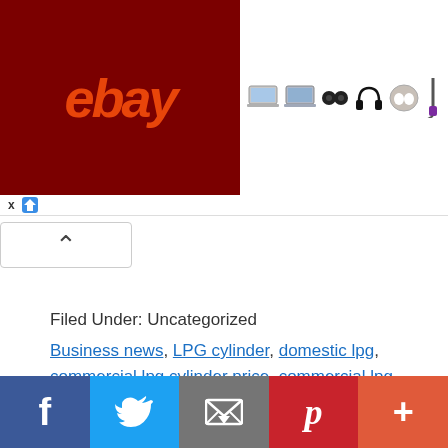[Figure (screenshot): eBay advertisement banner with dark red eBay logo on left and product images (laptops, earbuds, headphones, vacuum) on right]
[Figure (other): Scroll-up button with upward chevron arrow]
Filed Under: Uncategorized
Business news, LPG cylinder, domestic lpg, commercial lpg cylinder price, commercial lpg cylinder, commercial LPG, india business news, Financial..., news today business, 5kg lpg cylinder price in chennai, business news today, business news india, businesses news today, Todays Times of India, e commerce businesses in india, news today india, news times of india
[Figure (other): Social sharing bar with Facebook, Twitter, Email, Pinterest, and More buttons]